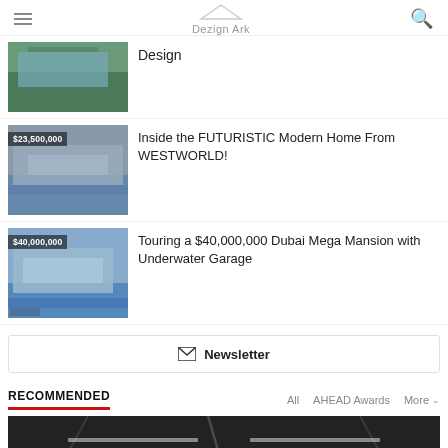Dezign Ark
Design
Inside the FUTURISTIC Modern Home From WESTWORLD!
Touring a $40,000,000 Dubai Mega Mansion with Underwater Garage
Newsletter
RECOMMENDED
All   AHEAD Awards   More